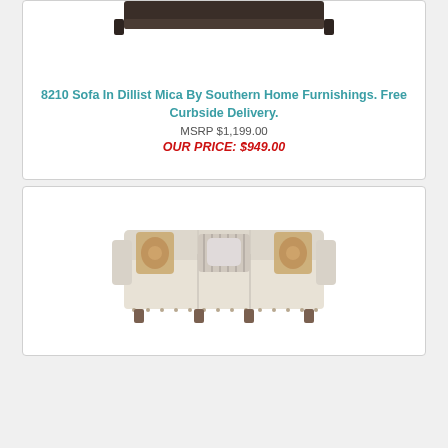[Figure (photo): Dark sofa/furniture item shown from above at top of card, partially cropped]
8210 Sofa In Dillist Mica By Southern Home Furnishings. Free Curbside Delivery.
MSRP $1,199.00
OUR PRICE: $949.00
[Figure (photo): Beige/cream sofa with decorative pillows, three-seat, with nail head trim, shown from front angle]